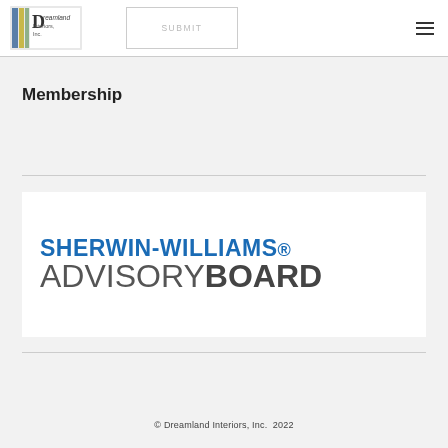[Figure (logo): Dreamland Interiors Inc. logo with colorful stripe icon]
SUBMIT
Membership
[Figure (logo): Sherwin-Williams Advisory Board logo]
© Dreamland Interiors, Inc.  2022